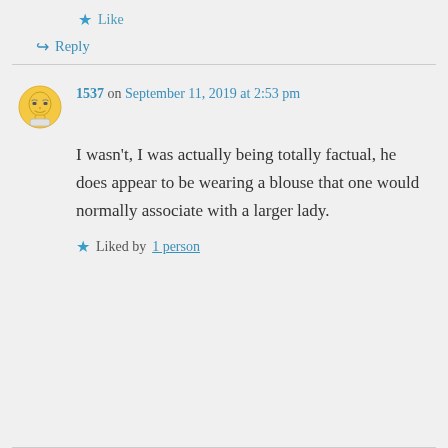Like
Reply
1537 on September 11, 2019 at 2:53 pm
I wasn't, I was actually being totally factual, he does appear to be wearing a blouse that one would normally associate with a larger lady.
Liked by 1 person